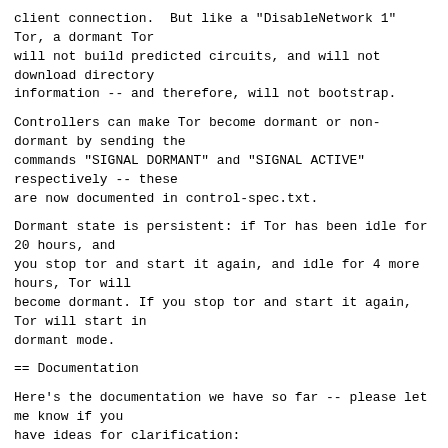client connection.  But like a "DisableNetwork 1" Tor, a dormant Tor
will not build predicted circuits, and will not download directory
information -- and therefore, will not bootstrap.
Controllers can make Tor become dormant or non-dormant by sending the
commands "SIGNAL DORMANT" and "SIGNAL ACTIVE" respectively -- these
are now documented in control-spec.txt.
Dormant state is persistent: if Tor has been idle for 20 hours, and
you stop tor and start it again, and idle for 4 more hours, Tor will
become dormant. If you stop tor and start it again, Tor will start in
dormant mode.
== Documentation
Here's the documentation we have so far -- please let me know if you
have ideas for clarification:
DormantClientTimeout N minutes|hours|days|weeks
            If Tor spends this much time without any client activity, enter a
        dormant state where automatic circuits are